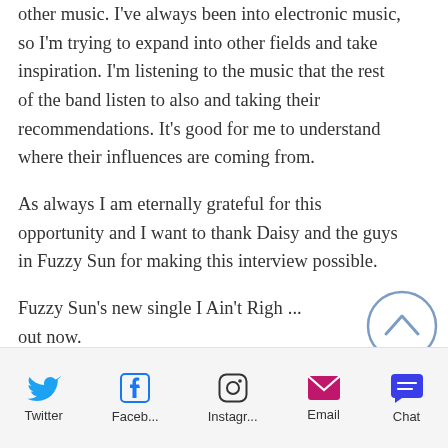other music. I've always been into electronic music, so I'm trying to expand into other fields and take inspiration. I'm listening to the music that the rest of the band listen to also and taking their recommendations. It's good for me to understand where their influences are coming from.
As always I am eternally grateful for this opportunity and I want to thank Daisy and the guys in Fuzzy Sun for making this interview possible.
Fuzzy Sun's new single I Ain't Righ... out now.
[Figure (other): Scroll to top button — circle with upward chevron arrow]
[Figure (infographic): Social sharing bar with Twitter, Facebook, Instagram, Email, and Chat icons with labels]